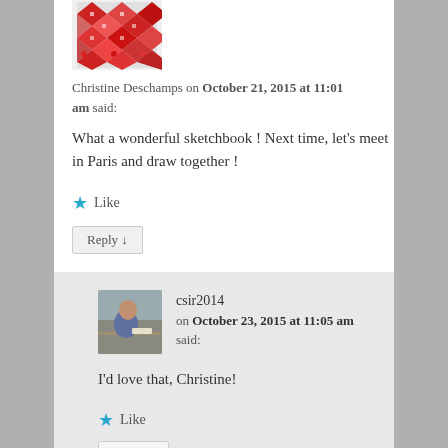[Figure (illustration): Red and white geometric/mosaic avatar icon for Christine Deschamps]
Christine Deschamps on October 21, 2015 at 11:01 am said:
What a wonderful sketchbook ! Next time, let's meet in Paris and draw together !
★ Like
Reply ↓
[Figure (photo): Small profile photo of csir2014, a person seated at a table]
csir2014 on October 23, 2015 at 11:05 am said:
I'd love that, Christine!
★ Like
Reply ↓